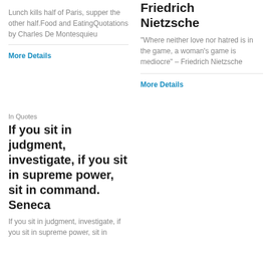Lunch kills half of Paris, supper the other half.Food and EatingQuotations by Charles De Montesquieu
More Details
Friedrich Nietzsche
"Where neither love nor hatred is in the game, a woman's game is mediocre" – Friedrich Nietzsche
More Details
In Quotes
If you sit in judgment, investigate, if you sit in supreme power, sit in command. Seneca
If you sit in judgment, investigate, if you sit in supreme power, sit in